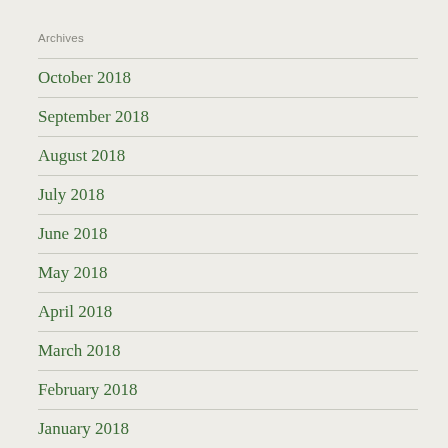Archives
October 2018
September 2018
August 2018
July 2018
June 2018
May 2018
April 2018
March 2018
February 2018
January 2018